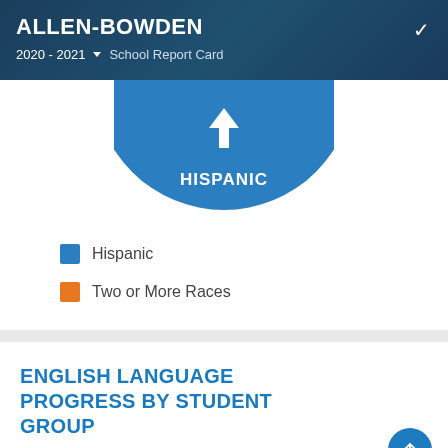ALLEN-BOWDEN
2020 - 2021 ▾  School Report Card
[Figure (pie-chart): Partial pie/donut chart showing Hispanic student group segment in blue, partially visible at top of card]
Hispanic
Two or More Races
ENGLISH LANGUAGE PROGRESS BY STUDENT GROUP